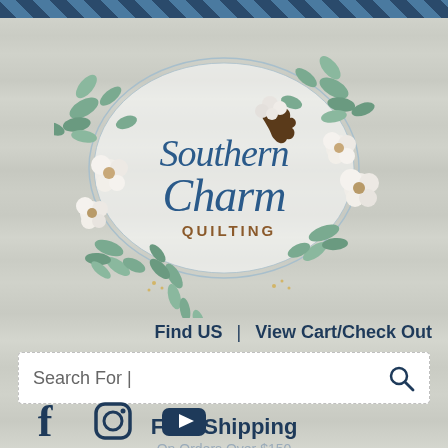[Figure (logo): Southern Charm Quilting logo with floral/botanical wreath oval frame containing cotton flowers and eucalyptus leaves, with script text 'Southern Charm QUILTING']
Find US  |  View Cart/Check Out
Search For |
Free Shipping
On Orders Over $150
[Figure (illustration): Social media icons: Facebook, Instagram, YouTube in dark navy blue]